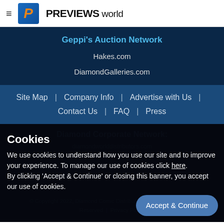PREVIEWS world
Geppi's Auction Network
Hakes.com
DiamondGalleries.com
Site Map
Company Info
Advertise with Us
Contact Us
FAQ
Press
Diamond Corporate Network:
diamondworlddistributors.com
© Copyright 2022, Diamond Comic Distributors, All Rights Reserved | Privacy Policy
Cookies
We use cookies to understand how you use our site and to improve your experience. To manage our use of cookies click here.
By clicking 'Accept & Continue' or closing this banner, you accept our use of cookies.